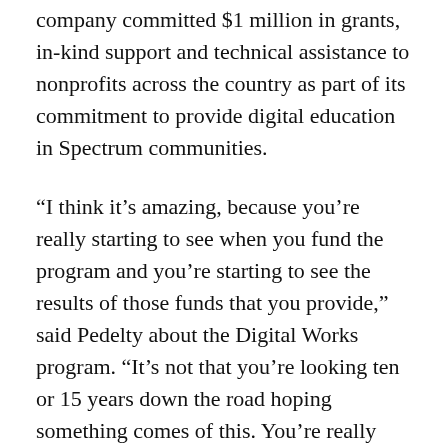company committed $1 million in grants, in-kind support and technical assistance to nonprofits across the country as part of its commitment to provide digital education in Spectrum communities.
“I think it’s amazing, because you’re really starting to see when you fund the program and you’re starting to see the results of those funds that you provide,” said Pedelty about the Digital Works program. “It’s not that you’re looking ten or 15 years down the road hoping something comes of this. You’re really looking into people’s faces and seeing the satisfaction they got out of the support you’ve given them.”
“I appreciate Spectrum for funding this program,”